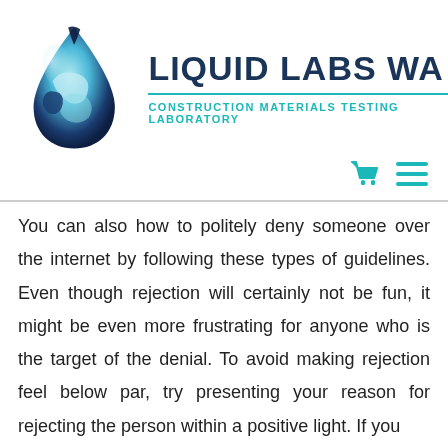[Figure (logo): Liquid Labs WA logo — a stylized blue water droplet with swirling silver and dark blue tones, next to bold dark blue text 'LIQUID LABS WA' with teal subtitle 'CONSTRUCTION MATERIALS TESTING LABORATORY' and a teal horizontal rule]
You can also how to politely deny someone over the internet by following these types of guidelines. Even though rejection will certainly not be fun, it might be even more frustrating for anyone who is the target of the denial. To avoid making rejection feel below par, try presenting your reason for rejecting the person within a positive light. If you